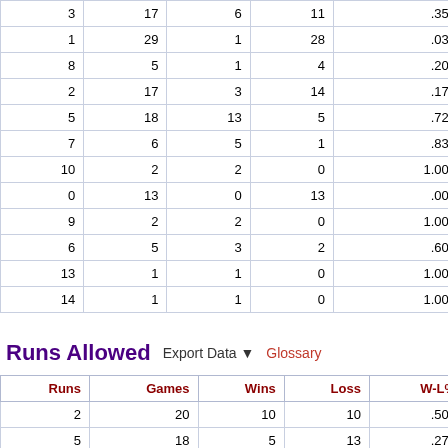| Runs | Games | Wins | Loss | W-L% |
| --- | --- | --- | --- | --- |
| 3 | 17 | 6 | 11 | .353 |
| 1 | 29 | 1 | 28 | .034 |
| 8 | 5 | 1 | 4 | .200 |
| 2 | 17 | 3 | 14 | .176 |
| 5 | 18 | 13 | 5 | .722 |
| 7 | 6 | 5 | 1 | .833 |
| 10 | 2 | 2 | 0 | 1.000 |
| 0 | 13 | 0 | 13 | .000 |
| 9 | 2 | 2 | 0 | 1.000 |
| 6 | 5 | 3 | 2 | .600 |
| 13 | 1 | 1 | 0 | 1.000 |
| 14 | 1 | 1 | 0 | 1.000 |
Runs Allowed
Export Data ▼
Glossary
| Runs | Games | Wins | Loss | W-L% |
| --- | --- | --- | --- | --- |
| 2 | 20 | 10 | 10 | .500 |
| 5 | 18 | 5 | 13 | .278 |
| 4 | 10 | 2 | 8 | .200 |
| 3 | 22 | 11 | 11 | .500 |
| 1 | 14 | 11 | 3 | .786 |